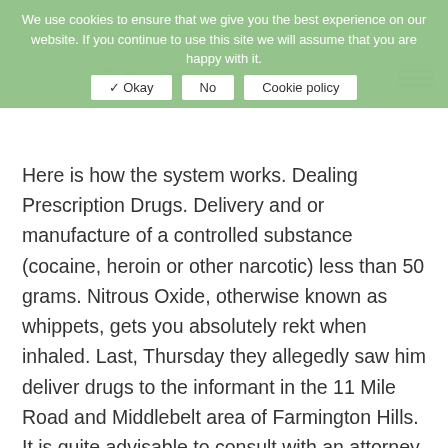We use cookies to ensure that we give you the best experience on our website. If you continue to use this site we will assume that you are happy with it.
Here is how the system works. Dealing Prescription Drugs. Delivery and or manufacture of a controlled substance (cocaine, heroin or other narcotic) less than 50 grams. Nitrous Oxide, otherwise known as whippets, gets you absolutely rekt when inhaled. Last, Thursday they allegedly saw him deliver drugs to the informant in the 11 Mile Road and Middlebelt area of Farmington Hills. It is quite advisable to consult with an attorney having knowledge of the illegal sales laws and penalties applicable in your case. “Selling” does not necessarily mean a cash transaction; instead, “… It indicates the ability to send an email. We use cookies to give you the best possible experience on our website. With defendants who are health care professionals or pharmacists, a prosecutor would have to prove that the defendant intentionally wrote or filled